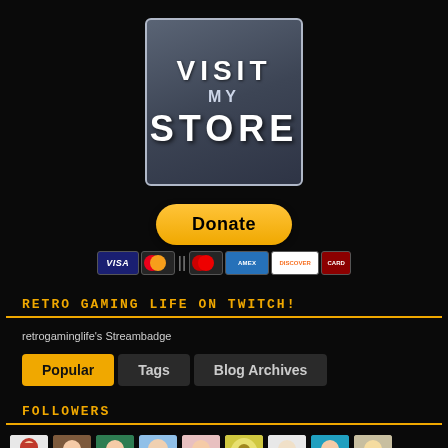[Figure (logo): Visit My Store banner — dark blue-gray rounded square with white bold text: VISIT MY STORE]
[Figure (infographic): Yellow Donate button with PayPal styling, below it a row of payment card icons: Visa, Mastercard, Maestro, American Express, Discover, and another card]
RETRO GAMING LIFE ON TWITCH!
[Figure (infographic): retrogaminglife's Streambadge]
[Figure (infographic): Tab row with three tabs: Popular (active/yellow), Tags, Blog Archives]
FOLLOWERS
[Figure (photo): Row of follower avatar thumbnails: Mario character, portrait photos, illustrated avatars in various colors]